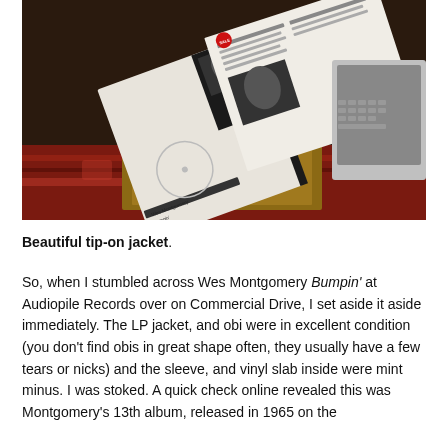[Figure (photo): A photograph showing a Wes Montgomery 'Bumpin' vinyl LP record with its jacket open, displaying the album artwork and liner notes, resting on a wooden surface with a red patterned rug and a laptop visible in the background.]
Beautiful tip-on jacket.
So, when I stumbled across Wes Montgomery Bumpin' at Audiopile Records over on Commercial Drive, I set aside it aside immediately. The LP jacket, and obi were in excellent condition (you don't find obis in great shape often, they usually have a few tears or nicks) and the sleeve, and vinyl slab inside were mint minus. I was stoked. A quick check online revealed this was Montgomery's 13th album, released in 1965 on the